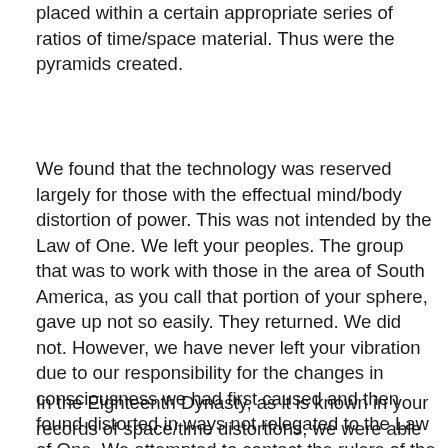placed within a certain appropriate series of ratios of time/space material. Thus were the pyramids created.
We found that the technology was reserved largely for those with the effectual mind/body distortion of power. This was not intended by the Law of One. We left your peoples. The group that was to work with those in the area of South America, as you call that portion of your sphere, gave up not so easily. They returned. We did not. However, we have never left your vibration due to our responsibility for the changes in consciousness we had first caused and then found distorted in ways not relegated to the Law of One. We attempted to contact the rulers of the land to which we had come, that land which you call Egypt, or in some areas, the Holy Land.
In the Eighteenth Dynasty, as it is known in your records of space/time distortions, we were able to